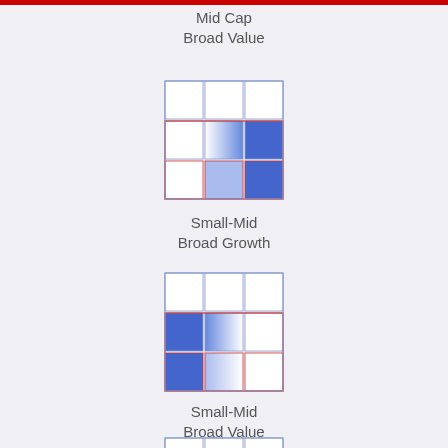Mid Cap
Broad Value
[Figure (other): 3x3 style box grid with blue shading in right two columns of middle and bottom rows, bordered in blue/red]
Small-Mid
Broad Growth
[Figure (other): 3x3 style box grid with blue shading in left two columns of middle and bottom rows, bordered in blue/red]
Small-Mid
Broad Value
[Figure (other): Partial 3x3 style box grid visible at bottom of page]